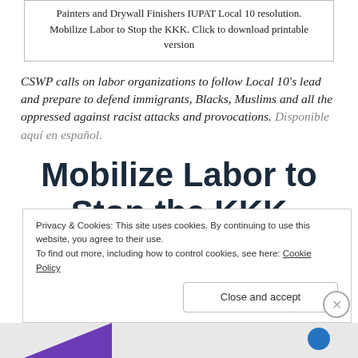Painters and Drywall Finishers IUPAT Local 10 resolution. Mobilize Labor to Stop the KKK. Click to download printable version
CSWP calls on labor organizations to follow Local 10's lead and prepare to defend immigrants, Blacks, Muslims and all the oppressed against racist attacks and provocations. Disponible aquí en español.
Mobilize Labor to Stop the KKK
Privacy & Cookies: This site uses cookies. By continuing to use this website, you agree to their use. To find out more, including how to control cookies, see here: Cookie Policy Close and accept